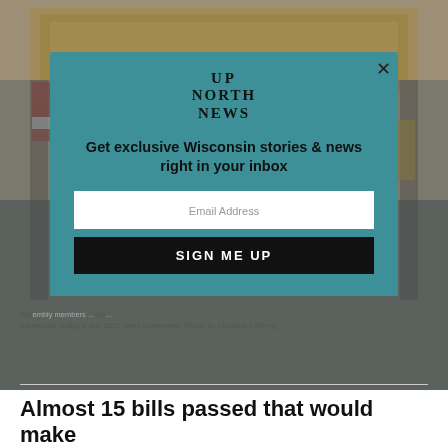[Figure (photo): Background photo of an ornate room with American flags and decorative woodwork/frame visible behind a semi-transparent teal modal dialog]
[Figure (infographic): Teal modal popup overlay with Up North News logo, newsletter signup headline, email input field, and SIGN ME UP button. Includes close X button in top-right corner.]
Ass[embly members ...] Bo[...] Kaukauna) during a July 2021 press conference. (Photo by Christina Lieffring)
Almost 15 bills passed that would make it harder to vote, according to a bill...